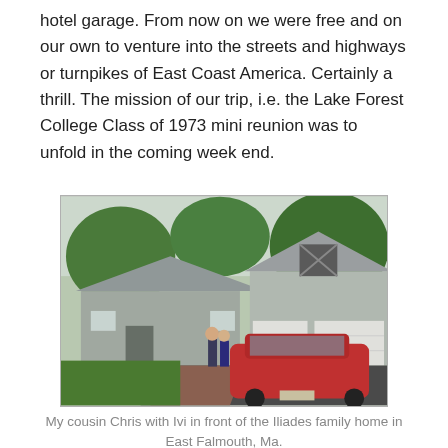hotel garage. From now on we were free and on our own to venture into the streets and highways or turnpikes of East Coast America. Certainly a thrill. The mission of our trip, i.e. the Lake Forest College Class of 1973 mini reunion was to unfold in the coming week end.
[Figure (photo): Two people standing in front of a gray house with a two-car garage and a red sedan parked in the driveway, surrounded by trees and green lawn.]
My cousin Chris with Ivi in front of the Iliades family home in East Falmouth, Ma.